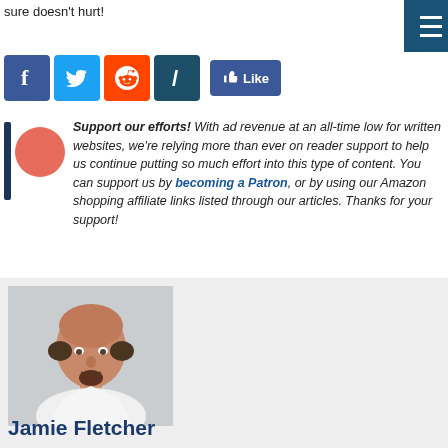sure doesn't hurt!
[Figure (other): Social share buttons: Facebook, Twitter, Reddit, Talkwalker, and a Facebook Like button]
Support our efforts! With ad revenue at an all-time low for written websites, we're relying more than ever on reader support to help us continue putting so much effort into this type of content. You can support us by becoming a Patron, or by using our Amazon shopping affiliate links listed through our articles. Thanks for your support!
[Figure (photo): Portrait photo of Jamie Fletcher, a bald man with goatee wearing a white shirt]
Jamie Fletcher